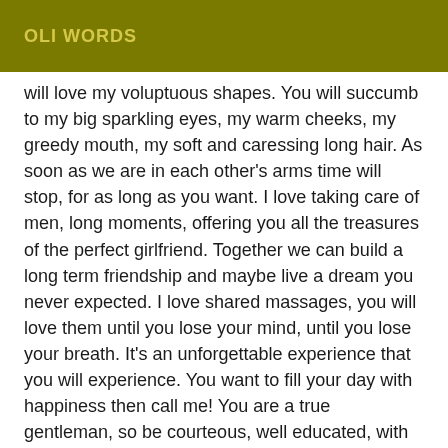OLI WORDS
will love my voluptuous shapes. You will succumb to my big sparkling eyes, my warm cheeks, my greedy mouth, my soft and caressing long hair. As soon as we are in each other's arms time will stop, for as long as you want. I love taking care of men, long moments, offering you all the treasures of the perfect girlfriend. Together we can build a long term friendship and maybe live a dream you never expected. I love shared massages, you will love them until you lose your mind, until you lose your breath. It's an unforgettable experience that you will experience. You want to fill your day with happiness then call me! You are a true gentleman, so be courteous, well educated, with impeccable hygiene. The good mood will set in and our appointment will be a great success. I receive in my private apartment, clean and discreet.., Calls only. If you want to make an appointment with me 1 hour before. I only accept commitments made in